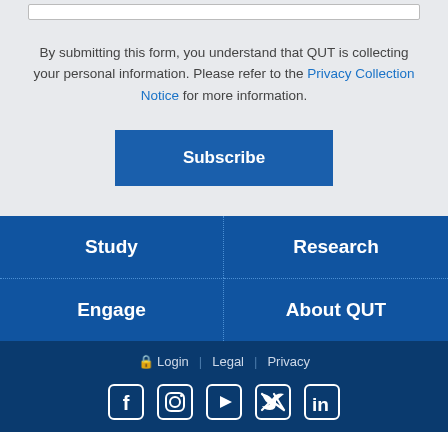By submitting this form, you understand that QUT is collecting your personal information. Please refer to the Privacy Collection Notice for more information.
Subscribe
Study
Research
Engage
About QUT
Login | Legal | Privacy